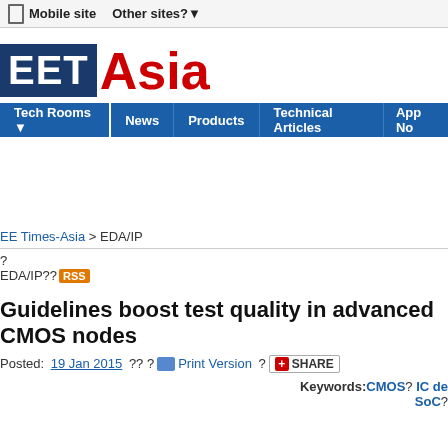Mobile site   Other sites?
[Figure (logo): EET Asia logo - EET in white on dark blue box, Asia in red]
Tech Rooms | News | Products | Technical Articles | App No
EE Times-Asia > EDA/IP
EDA/IP?? RSS
Guidelines boost test quality in advanced CMOS nodes
Posted: 19 Jan 2015 ?? ? Print Version ? SHARE
Keywords: CMOS? IC de SoC?